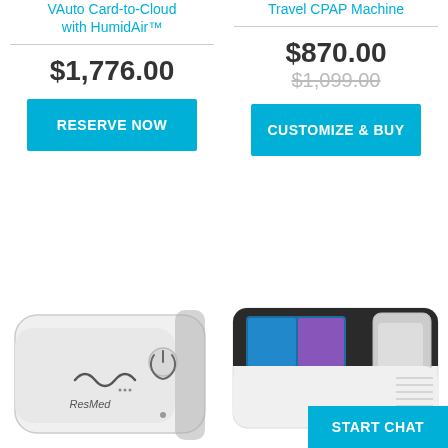VAuto Card-to-Cloud with HumidAir™
Travel CPAP Machine
$1,776.00
$870.00
$1,099.00
RESERVE NOW
CUSTOMIZE & BUY
[Figure (photo): ResMed AirMini travel CPAP device, white compact unit with power button]
[Figure (photo): Philips DreamStation CPAP machine with touchscreen display, black and white]
START CHAT